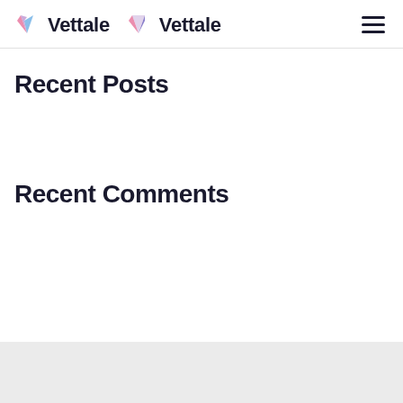Vettale Vettale
Recent Posts
Recent Comments